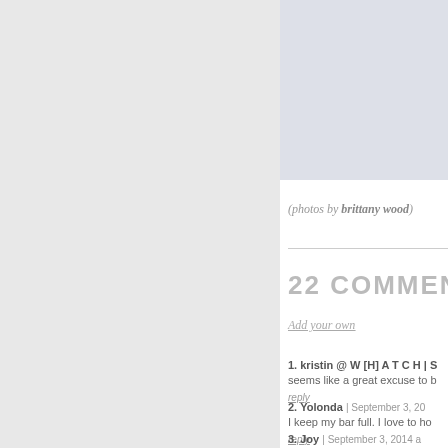[Figure (photo): Photo placeholder with light blue-grey background]
(photos by brittany wood)
22 COMMENTS
Add your own
1. kristin @ W [H] A T C H | S seems like a great excuse to b reply
2. Yolonda | September 3, 20 I keep my bar full. I love to ho reply
3. Joy | September 3, 2014 a This is awesome! Where is the Thanks!